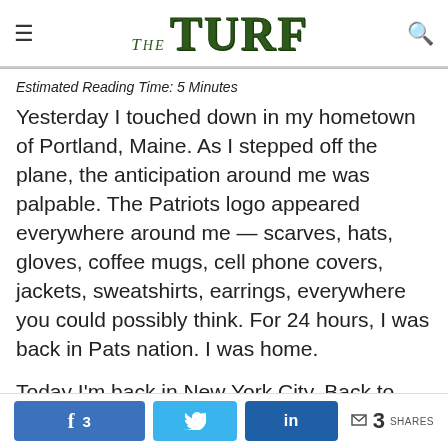THE TURF
Estimated Reading Time: 5 Minutes
Yesterday I touched down in my hometown of Portland, Maine. As I stepped off the plane, the anticipation around me was palpable. The Patriots logo appeared everywhere around me — scarves, hats, gloves, coffee mugs, cell phone covers, jackets, sweatshirts, earrings, everywhere you could possibly think. For 24 hours, I was back in Pats nation. I was home.
Today I'm back in New York City. Back to being one of the hated fortunate few. Back to crowding into my bar surrounded by fellow Pats fans, ready to cheer
3  3 SHARES